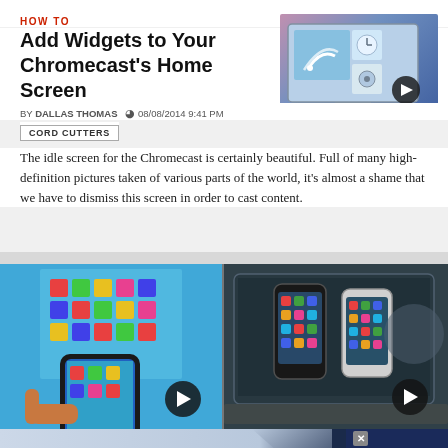HOW TO
Add Widgets to Your Chromecast's Home Screen
[Figure (screenshot): Chromecast home screen with widgets showing clock and settings icons, with a play button overlay]
BY DALLAS THOMAS  08/08/2014 9:41 PM
CORD CUTTERS
The idle screen for the Chromecast is certainly beautiful. Full of many high-definition pictures taken of various parts of the world, it's almost a shame that we have to dismiss this screen in order to cast content.
[Figure (screenshot): Hand holding a smartphone displaying Candy Crush game being mirrored to a TV screen, with play button overlay]
[Figure (screenshot): Two smartphones displayed on a laptop screen showing a comparison/mirroring interface, with play button overlay]
Top Junior Gold Mining Stock  |  Get access to the next Top mining "Micro Cap" here!  |  EXPLORE NOW